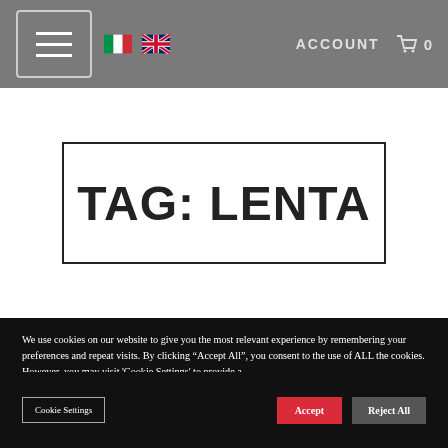ACCOUNT  0  [menu] [Italian flag] [UK flag]
TAG: LENTA
We use cookies on our website to give you the most relevant experience by remembering your preferences and repeat visits. By clicking “Accept All”, you consent to the use of ALL the cookies. However, you may visit 'Cookie Settings' to provide a controlled consent.
Cookie Settings  Read More
Cookie Settings  Accept  Reject All